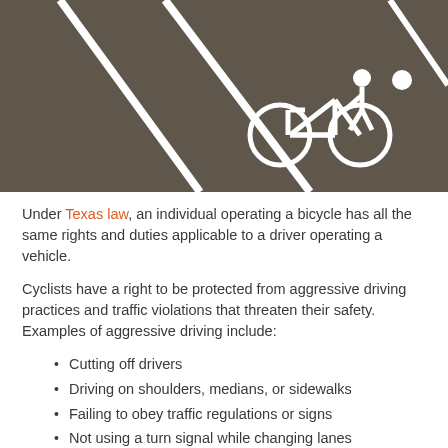[Figure (photo): Photograph of a bicycle lane on asphalt road, showing white painted bicycle symbol and lane markings]
Under Texas law, an individual operating a bicycle has all the same rights and duties applicable to a driver operating a vehicle.
Cyclists have a right to be protected from aggressive driving practices and traffic violations that threaten their safety. Examples of aggressive driving include:
Cutting off drivers
Driving on shoulders, medians, or sidewalks
Failing to obey traffic regulations or signs
Not using a turn signal while changing lanes